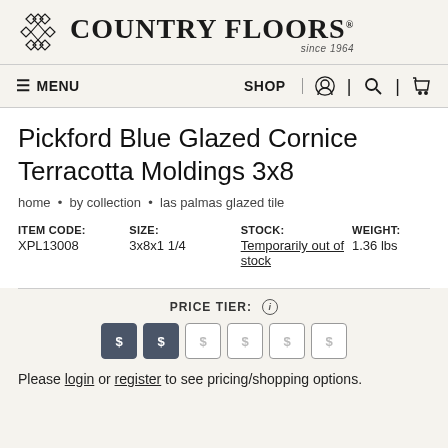[Figure (logo): Country Floors logo with geometric snowflake/diamond pattern icon and text 'COUNTRY FLOORS since 1964']
≡ MENU   SHOP   [account icon] | [search icon] | [cart icon]
Pickford Blue Glazed Cornice Terracotta Moldings 3x8
home • by collection • las palmas glazed tile
| ITEM CODE: | SIZE: | STOCK: | WEIGHT: |
| --- | --- | --- | --- |
| XPL13008 | 3x8x1 1/4 | Temporarily out of stock | 1.36 lbs |
PRICE TIER: ℹ
[Figure (infographic): Six price tier buttons showing '$' symbols, first two active (dark), remaining four inactive (light)]
Please login or register to see pricing/shopping options.